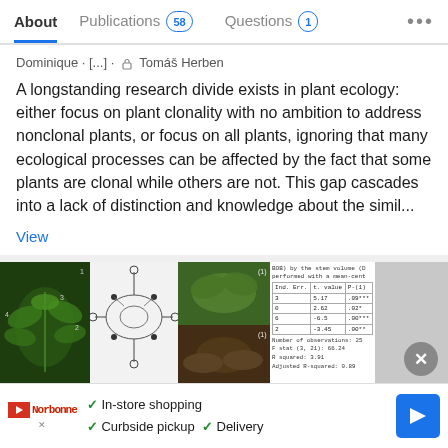About   Publications 58   Questions 1   ...
Dominique · [...] · Tomáš Herben
A longstanding research divide exists in plant ecology: either focus on plant clonality with no ambition to address nonclonal plants, or focus on all plants, ignoring that many ecological processes can be affected by the fact that some plants are clonal while others are not. This gap cascades into a lack of distinction and knowledge about the simil...
View
[Figure (photo): Composite image showing plant specimens, anatomical diagrams, field photos of seedlings, a statistical table, and a gray panel for a study on leaf heteroblasty]
A Quantitative Index Based on Leaf Heteroblasty for Predicting Root Biomass in a Frequently Burned Savanna Species: Cussonia arboreaHochst. Ex A. Rich.
Advertisement
✓ In-store shopping   ✓ Curbside pickup   ✓ Delivery